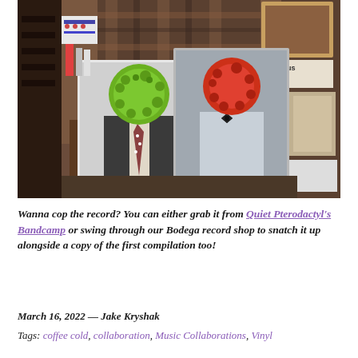[Figure (photo): A person in a plaid jacket holding up two vinyl record album covers — one with a figure wearing a suit with a green spiky ball for a head, and one with a figure in a white shirt and bow tie with a red spiky ball for a head. The background appears to be a record shop.]
Wanna cop the record? You can either grab it from Quiet Pterodactyl's Bandcamp or swing through our Bodega record shop to snatch it up alongside a copy of the first compilation too!
March 16, 2022 — Jake Kryshak
Tags: coffee cold, collaboration, Music Collaborations, Vinyl